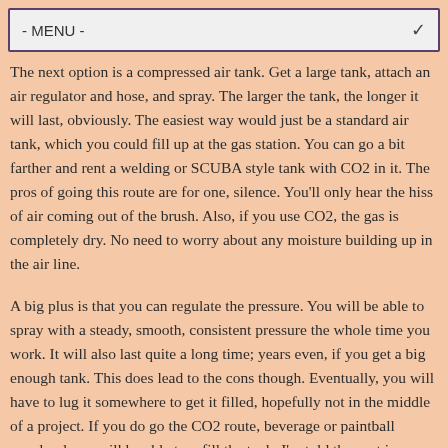- MENU -
The next option is a compressed air tank. Get a large tank, attach an air regulator and hose, and spray. The larger the tank, the longer it will last, obviously. The easiest way would just be a standard air tank, which you could fill up at the gas station. You can go a bit farther and rent a welding or SCUBA style tank with CO2 in it. The pros of going this route are for one, silence. You'll only hear the hiss of air coming out of the brush. Also, if you use CO2, the gas is completely dry. No need to worry about any moisture building up in the air line.
A big plus is that you can regulate the pressure. You will be able to spray with a steady, smooth, consistent pressure the whole time you work. It will also last quite a long time; years even, if you get a big enough tank. This does lead to the cons though. Eventually, you will have to lug it somewhere to get it filled, hopefully not in the middle of a project. If you do go the CO2 route, beverage or paintball supply places will be able to refill the tank. I'm told the cost is usually around 30 dollars. Additionally